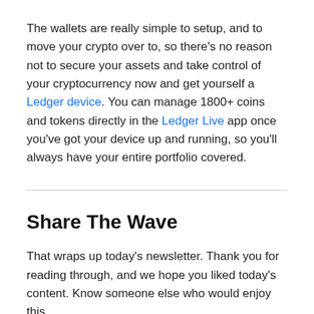The wallets are really simple to setup, and to move your crypto over to, so there's no reason not to secure your assets and take control of your cryptocurrency now and get yourself a Ledger device. You can manage 1800+ coins and tokens directly in the Ledger Live app once you've got your device up and running, so you'll always have your entire portfolio covered.
Share The Wave
That wraps up today's newsletter. Thank you for reading through, and we hope you liked today's content. Know someone else who would enjoy this